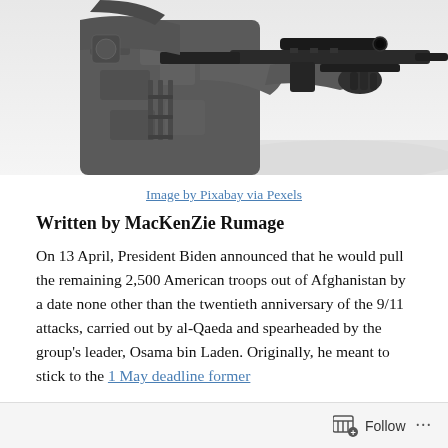[Figure (photo): Black and white photo of a soldier in full combat gear holding a rifle with a scope, viewed from behind/side, with a snowy or desert landscape in the background.]
Image by Pixabay via Pexels
Written by MacKenZie Rumage
On 13 April, President Biden announced that he would pull the remaining 2,500 American troops out of Afghanistan by a date none other than the twentieth anniversary of the 9/11 attacks, carried out by al-Qaeda and spearheaded by the group’s leader, Osama bin Laden. Originally, he meant to stick to the 1 May deadline former...